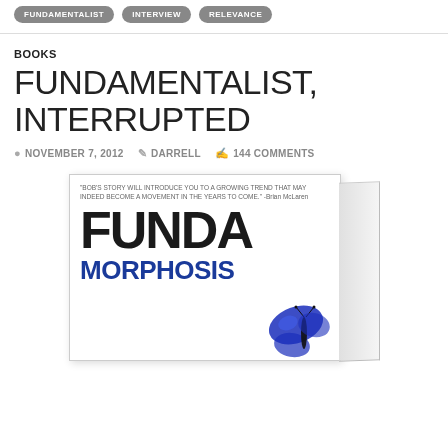FUNDAMENTALIST  INTERVIEW  RELEVANCE
BOOKS
FUNDAMENTALIST, INTERRUPTED
NOVEMBER 7, 2012  DARRELL  144 COMMENTS
[Figure (photo): 3D rendered book cover showing 'FUNDAMORPHOSIS' with large bold text and a blue butterfly, with a quote at the top: 'BOB'S STORY WILL INTRODUCE YOU TO A GROWING TREND THAT MAY INDEED BECOME A MOVEMENT IN THE YEARS TO COME.' -Brian McLaren]